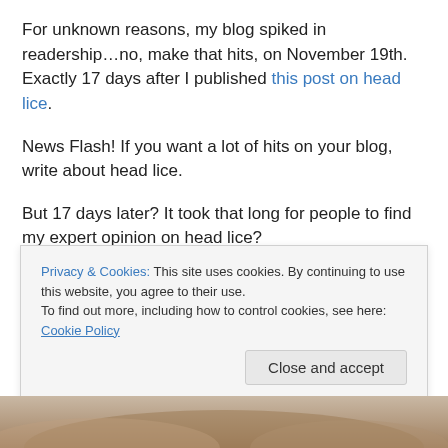For unknown reasons, my blog spiked in readership…no, make that hits, on November 19th. Exactly 17 days after I published this post on head lice.
News Flash! If you want a lot of hits on your blog, write about head lice.
But 17 days later? It took that long for people to find my expert opinion on head lice?
Find me, they did. And I've never been more popular. But I know what is happening. People are Googling head lice
Privacy & Cookies: This site uses cookies. By continuing to use this website, you agree to their use.
To find out more, including how to control cookies, see here: Cookie Policy
[Figure (photo): Partial photo of hair/head visible at the bottom of the page]